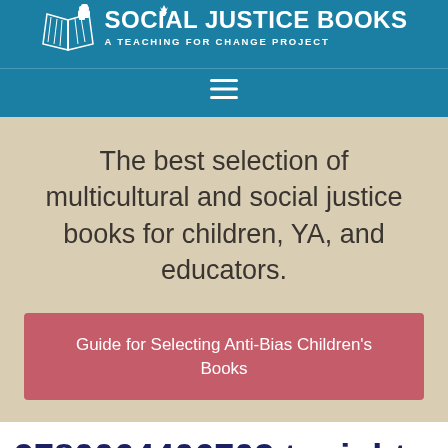SOCIAL JUSTICE BOOKS — A TEACHING FOR CHANGE PROJECT
The best selection of multicultural and social justice books for children, YA, and educators.
Guide for Selecting Anti-Bias Children's Books
9780064406703 tonight by sea